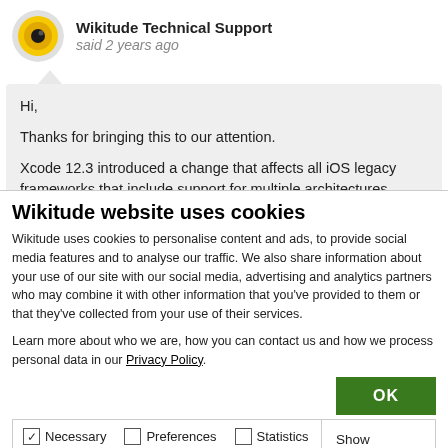Wikitude Technical Support
said 2 years ago
Hi,

Thanks for bringing this to our attention.

Xcode 12.3 introduced a change that affects all iOS legacy frameworks that include support for multiple architectures.
Wikitude website uses cookies
Wikitude uses cookies to personalise content and ads, to provide social media features and to analyse our traffic. We also share information about your use of our site with our social media, advertising and analytics partners who may combine it with other information that you've provided to them or that they've collected from your use of their services.
Learn more about who we are, how you can contact us and how we process personal data in our Privacy Policy.
OK
Necessary  Preferences  Statistics  Marketing  Show details